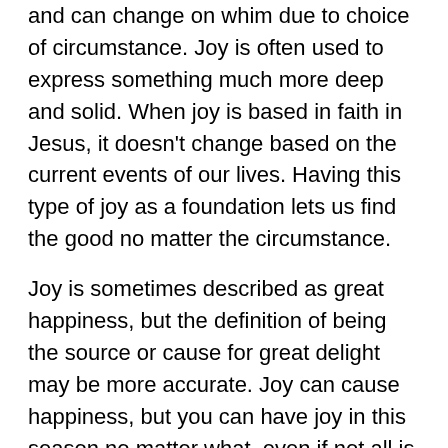and can change on whim due to choice of circumstance. Joy is often used to express something much more deep and solid. When joy is based in faith in Jesus, it doesn't change based on the current events of our lives. Having this type of joy as a foundation lets us find the good no matter the circumstance.
Joy is sometimes described as great happiness, but the definition of being the source or cause for great delight may be more accurate. Joy can cause happiness, but you can have joy in this season no matter what, even if not all is happy. Because our source of joy remains the same.
This concept applies to each of the other themes that we have explored over advent. When hope, love, joy and peace are dependant only on God, than they are permanent. It doesn't mean that you can't feel hopeless or sad or any other emotion that is typically thought of